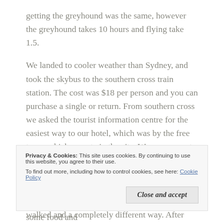getting the greyhound was the same, however the greyhound takes 10 hours and flying take 1.5.
We landed to cooler weather than Sydney, and took the skybus to the southern cross train station. The cost was $18 per person and you can purchase a single or return. From southern cross we asked the tourist information centre for the easiest way to our hotel, which was by the free trams which operate in the city. We were meant to catch a direct tram 2 blocks away to La Trobe street, and walk up to russel street where our hotel was located. However when we got on the tram in went straight back along the 2 blocks we walked and a completely different way. After
Privacy & Cookies: This site uses cookies. By continuing to use this website, you agree to their use.
To find out more, including how to control cookies, see here: Cookie Policy
definitely one of the cleanest. We headed out for some food and